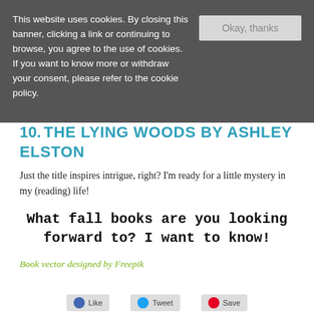This website uses cookies. By closing this banner, clicking a link or continuing to browse, you agree to the use of cookies. If you want to know more or withdraw your consent, please refer to the cookie policy.
10. THE LYING WOODS BY ASHLEY ELSTON
Just the title inspires intrigue, right? I'm ready for a little mystery in my (reading) life!
What fall books are you looking forward to? I want to know!
Book vector designed by Freepik